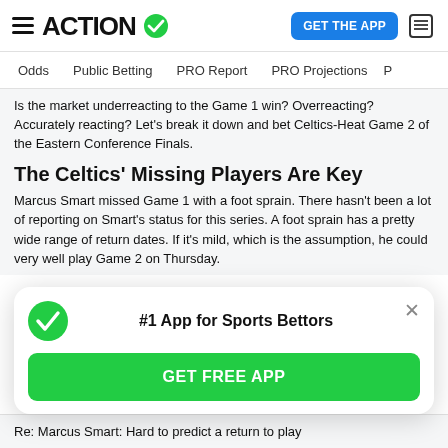ACTION  GET THE APP
Odds  Public Betting  PRO Report  PRO Projections
Is the market underreacting to the Game 1 win? Overreacting? Accurately reacting? Let's break it down and bet Celtics-Heat Game 2 of the Eastern Conference Finals.
The Celtics' Missing Players Are Key
Marcus Smart missed Game 1 with a foot sprain. There hasn't been a lot of reporting on Smart's status for this series. A foot sprain has a pretty wide range of return dates. If it's mild, which is the assumption, he could very well play Game 2 on Thursday.
[Figure (other): Popup banner: #1 App for Sports Bettors with GET FREE APP button and green checkmark logo]
Re: Marcus Smart: Hard to predict a return to play